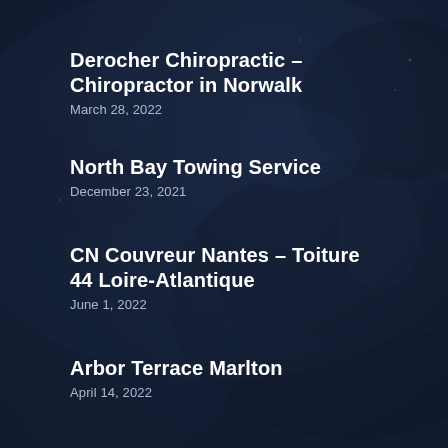Derocher Chiropractic – Chiropractor in Norwalk
March 28, 2022
North Bay Towing Service
December 23, 2021
CN Couvreur Nantes – Toiture 44 Loire-Atlantique
June 1, 2022
Arbor Terrace Marlton
April 14, 2022
La compta mobile